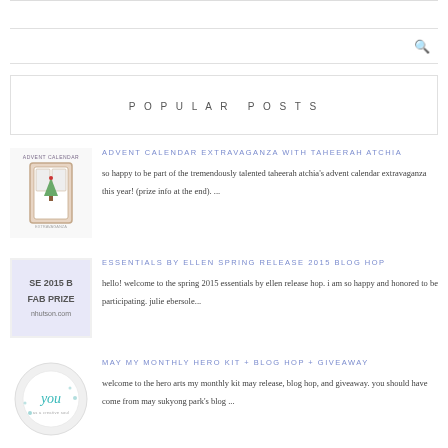POPULAR POSTS
[Figure (illustration): Advent Calendar thumbnail with decorative holiday imagery]
ADVENT CALENDAR EXTRAVAGANZA WITH TAHEERAH ATCHIA
so happy to be part of the tremendously talented taheerah atchia's advent calendar extravaganza this year! (prize info at the end). ...
[Figure (illustration): Spring 2015 blog hop thumbnail with text 'SE 2015 B' and 'FAB PRIZE' and 'nhutson.com']
ESSENTIALS BY ELLEN SPRING RELEASE 2015 BLOG HOP
hello!  welcome to the spring 2015 essentials by ellen release hop.  i am so happy and honored to be participating.  julie ebersole...
[Figure (illustration): Monthly hero kit thumbnail with circular image and 'you' text in teal]
MAY MY MONTHLY HERO KIT + BLOG HOP + GIVEAWAY
welcome to the hero arts my monthly kit may release, blog hop, and giveaway.  you should have come from may sukyong park's blog ...